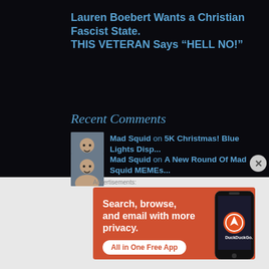Lauren Boebert Wants a Christian Fascist State. THIS VETERAN Says “HELL NO!”
Recent Comments
Mad Squid on 5K Christmas! Blue Lights Disp...
Mad Squid on A New Round Of Mad Squid MEMEs...
Advertisements:
[Figure (infographic): DuckDuckGo advertisement banner with orange background showing text 'Search, browse, and email with more privacy. All in One Free App' and an image of a phone with DuckDuckGo logo]